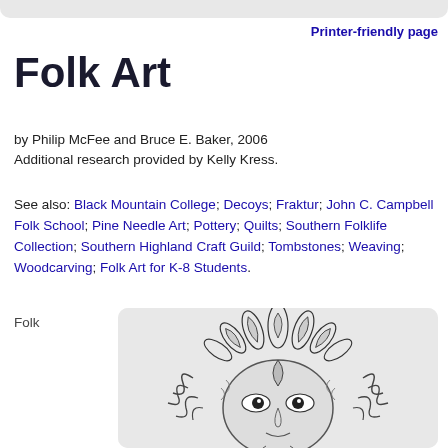Printer-friendly page
Folk Art
by Philip McFee and Bruce E. Baker, 2006
Additional research provided by Kelly Kress.
See also: Black Mountain College; Decoys; Fraktur; John C. Campbell Folk School; Pine Needle Art; Pottery; Quilts; Southern Folklife Collection; Southern Highland Craft Guild; Tombstones; Weaving; Woodcarving; Folk Art for K-8 Students.
Folk
[Figure (illustration): Black and white detailed illustration of a decorative folk art face/mask with ornate leaf and scroll patterns surrounding a stylized face with prominent eyes]